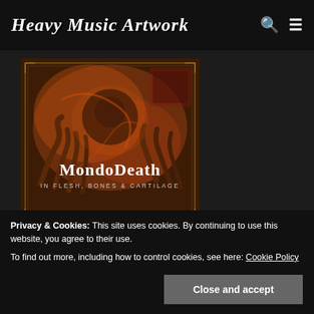Heavy Music Artwork
[Figure (photo): Album cover artwork for MondoDeath - In Flesh, Bones & Cartilage. Dark horror-themed illustration with demonic clawed hands and a figure, rendered in orange, red and brown tones. The album title 'MondoDeath' and subtitle 'IN FLESH, BONES & CARTILAGE' are displayed in gothic lettering on the cover.]
Mondo Death In Flesh, Bones &
Privacy & Cookies: This site uses cookies. By continuing to use this website, you agree to their use.
To find out more, including how to control cookies, see here: Cookie Policy
Close and accept